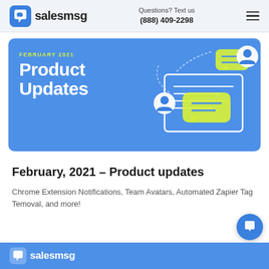salesmsg — Questions? Text us (888) 409-2298
[Figure (illustration): Blue banner with 'FEBRUARY 2021 Product Updates' text and illustrated messaging icons (chat bubbles, envelope, person avatars) on a blue background.]
February, 2021 - Product updates
Chrome Extension Notifications, Team Avatars, Automated Zapier Tag Temoval, and more!
salesmsg